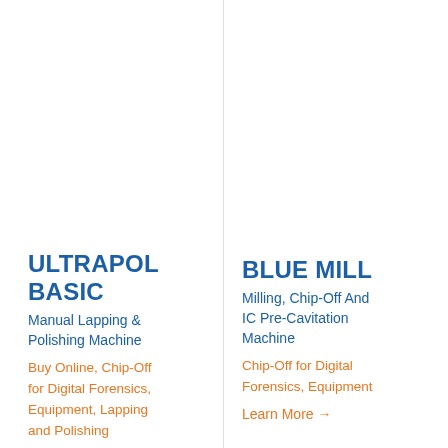ULTRAPOL BASIC
Manual Lapping & Polishing Machine
Buy Online, Chip-Off for Digital Forensics, Equipment, Lapping and Polishing
BLUE MILL
Milling, Chip-Off And IC Pre-Cavitation Machine
Chip-Off for Digital Forensics, Equipment
Learn More →